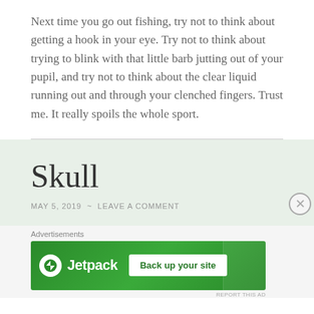Next time you go out fishing, try not to think about getting a hook in your eye. Try not to think about trying to blink with that little barb jutting out of your pupil, and try not to think about the clear liquid running out and through your clenched fingers. Trust me. It really spoils the whole sport.
Skull
MAY 5, 2019 ~ LEAVE A COMMENT
[Figure (other): Jetpack advertisement banner with green background showing Jetpack logo and 'Back up your site' button]